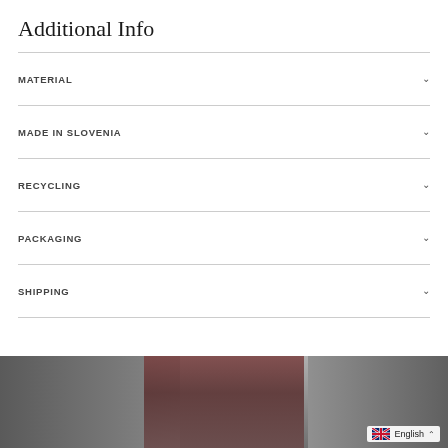Additional Info
MATERIAL
MADE IN SLOVENIA
RECYCLING
PACKAGING
SHIPPING
[Figure (photo): Partial product photo at bottom of page showing a dark reddish/maroon item against a grey background]